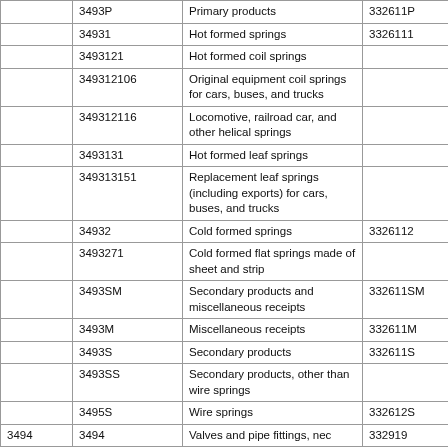|  | SIC code | Product description | NAICS code |
| --- | --- | --- | --- |
|  | 3493P | Primary products | 332611P |
|  | 34931 | Hot formed springs | 3326111 |
|  | 3493121 | Hot formed coil springs |  |
|  | 349312106 | Original equipment coil springs for cars, buses, and trucks |  |
|  | 349312116 | Locomotive, railroad car, and other helical springs |  |
|  | 3493131 | Hot formed leaf springs |  |
|  | 349313151 | Replacement leaf springs (including exports) for cars, buses, and trucks |  |
|  | 34932 | Cold formed springs | 3326112 |
|  | 3493271 | Cold formed flat springs made of sheet and strip |  |
|  | 3493SM | Secondary products and miscellaneous receipts | 332611SM |
|  | 3493M | Miscellaneous receipts | 332611M |
|  | 3493S | Secondary products | 332611S |
|  | 3493SS | Secondary products, other than wire springs |  |
|  | 3495S | Wire springs | 332612S |
| 3494 | 3494 | Valves and pipe fittings, nec | 332919 |